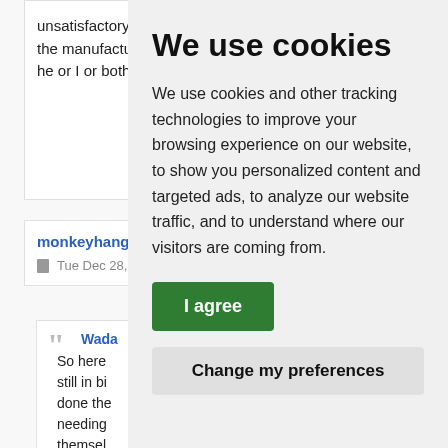unsatisfactory all the manufacturer he or I or both, cla
monkeyhanger
Tue Dec 28, 202
Wada So here still in bi done the needing themsel Someone complain help wh special t "So wha
We use cookies
We use cookies and other tracking technologies to improve your browsing experience on our website, to show you personalized content and targeted ads, to analyze our website traffic, and to understand where our visitors are coming from.
I agree
Change my preferences